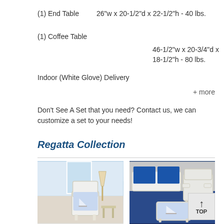(1) End Table        26"w x 20-1/2"d x 22-1/2"h - 40 lbs.
(1) Coffee Table
                    46-1/2"w x 20-3/4"d x 18-1/2"h - 80 lbs.
Indoor (White Glove) Delivery
+ more
Don't See A Set that you need? Contact us, we can customize a set to your needs!
Regatta Collection
[Figure (photo): White wicker chair with blue sailboat cushion in a beach-themed room with ocean view and lamp]
[Figure (photo): White wicker furniture set with blue sailboat cushions on blue carpet]